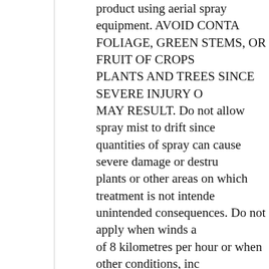product using aerial spray equipment. AVOID CONTACT WITH FOLIAGE, GREEN STEMS, OR FRUIT OF CROPS, DESIRABLE PLANTS AND TREES SINCE SEVERE INJURY OR DESTRUCTION MAY RESULT. Do not allow spray mist to drift since even minute quantities of spray can cause severe damage or destruction of plants or other areas on which treatment is not intended and other unintended consequences. Do not apply when winds are in excess of 8 kilometres per hour or when other conditions, including inversion velocities, will allow drift to occur. When spraying, avoid use of pressure and nozzle type that will result in fine particles that are more likely to drift. DO NOT USE IN GREENHOUSES.
Yes, I know, this wording is all written by lawyers to protect against frivolous litigation by unscrupulous consumers. In fact, for those who don't want to go through all this bother, Monsanto has and will sell you each year, genetically modified seeds that are resistant (in other words, they sell both the disease and the cure), so you can ignore warnings and just drown your crops in this toxic poison, secure in the knowledge that the Frankenstein crops Monsanto has sold you are the only ones that will live through it. Meanwhile, in public pronouncements Monsanto